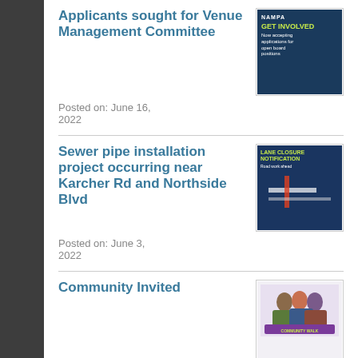[Figure (photo): NAMPA 'Get Involved' board positions thumbnail image with blue background and yellow-green text]
Applicants sought for Venue Management Committee
Posted on: June 16, 2022
[Figure (photo): Lane Closure notification document thumbnail with blue background and road map]
Sewer pipe installation project occurring near Karcher Rd and Northside Blvd
Posted on: June 3, 2022
[Figure (photo): Community event photo thumbnail showing group of people outdoors]
Community Invited